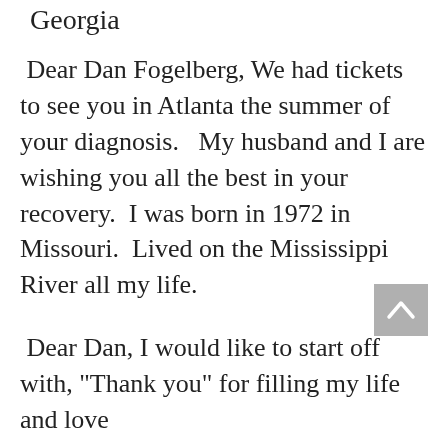Georgia
Dear Dan Fogelberg, We had tickets to see you in Atlanta the summer of your diagnosis.   My husband and I are wishing you all the best in your recovery.  I was born in 1972 in Missouri.  Lived on the Mississippi River all my life.
Dear Dan, I would like to start off with, "Thank you" for filling my life and love